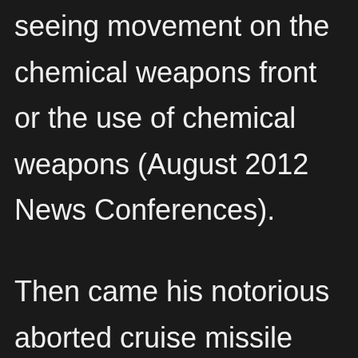consequences if we start seeing movement on the chemical weapons front or the use of chemical weapons (August 2012 News Conferences).
Then came his notorious aborted cruise missile launch in response to Syria's calling his bluff with its chemical assault on civilians.